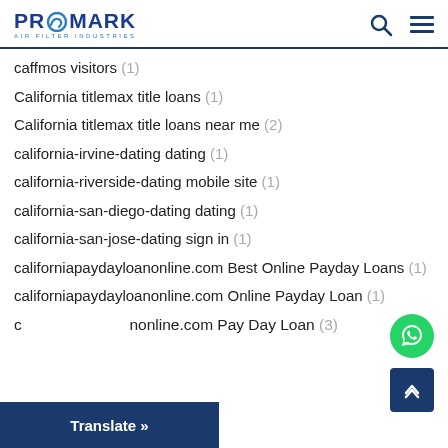PROMARK AIR FILTER INDUSTRIES
caffmos visitors (1)
California titlemax title loans (1)
California titlemax title loans near me (2)
california-irvine-dating dating (1)
california-riverside-dating mobile site (1)
california-san-diego-dating dating (1)
california-san-jose-dating sign in (1)
californiapaydayloanonline.com Best Online Payday Loans (1)
californiapaydayloanonline.com Online Payday Loan (1)
californiapaydayloanonline.com Pay Day Loan (3)